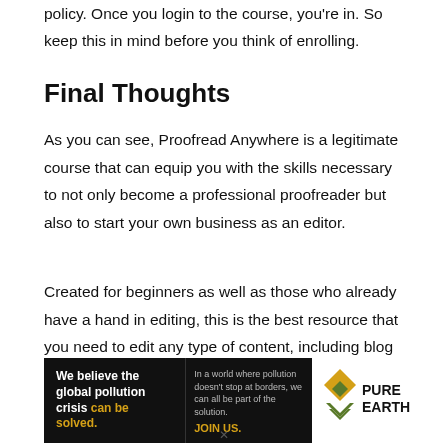policy. Once you login to the course, you're in. So keep this in mind before you think of enrolling.
Final Thoughts
As you can see, Proofread Anywhere is a legitimate course that can equip you with the skills necessary to not only become a professional proofreader but also to start your own business as an editor.
Created for beginners as well as those who already have a hand in editing, this is the best resource that you need to edit any type of content, including blog posts, essays,
[Figure (other): Advertisement banner for Pure Earth organization. Black background on left side reads 'We believe the global pollution crisis can be solved.' with 'can be solved.' in yellow/gold. Right side has white background with Pure Earth diamond logo and 'PURE EARTH' text in black. Text reads 'In a world where pollution doesn't stop at borders, we can all be part of the solution. JOIN US.']